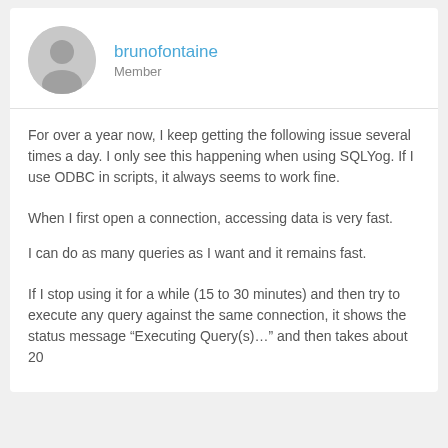brunofontaine
Member
For over a year now, I keep getting the following issue several times a day. I only see this happening when using SQLYog. If I use ODBC in scripts, it always seems to work fine.
When I first open a connection, accessing data is very fast.
I can do as many queries as I want and it remains fast.
If I stop using it for a while (15 to 30 minutes) and then try to execute any query against the same connection, it shows the status message “Executing Query(s)…” and then takes about 20